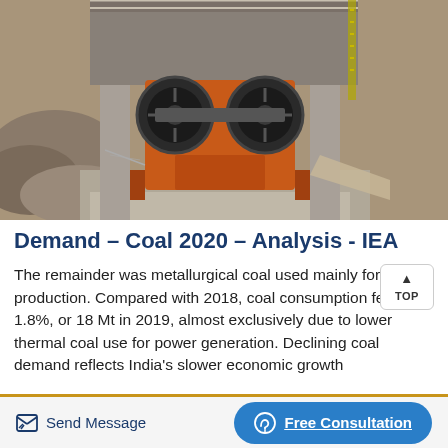[Figure (photo): Industrial coal crushing/mining machinery — a large orange jaw crusher with metal wheels and scaffolding, set at a stone quarry or mine site.]
Demand – Coal 2020 – Analysis - IEA
The remainder was metallurgical coal used mainly for steel production. Compared with 2018, coal consumption fell 1.8%, or 18 Mt in 2019, almost exclusively due to lower thermal coal use for power generation. Declining coal demand reflects India's slower economic growth
Send Message   Free Consultation